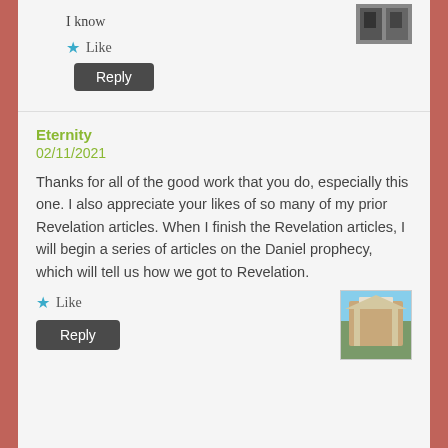I know
★ Like
Reply
Eternity
02/11/2021
Thanks for all of the good work that you do, especially this one. I also appreciate your likes of so many of my prior Revelation articles. When I finish the Revelation articles, I will begin a series of articles on the Daniel prophecy, which will tell us how we got to Revelation.
★ Like
Reply